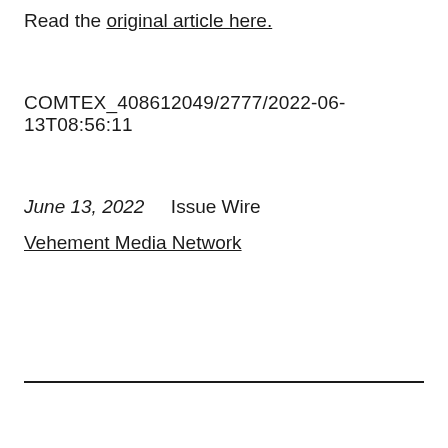Read the original article here.
COMTEX_408612049/2777/2022-06-13T08:56:11
June 13, 2022     Issue Wire
Vehement Media Network